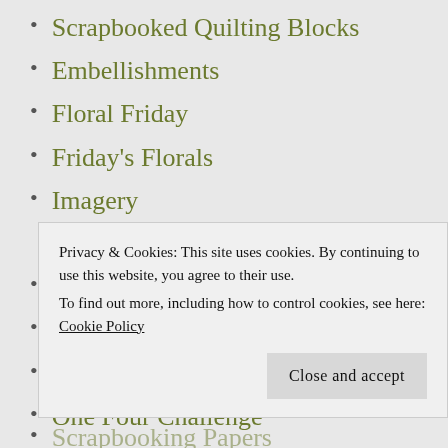Scrapbooked Quilting Blocks
Embellishments
Floral Friday
Friday's Florals
Imagery
Weekly Challenges
Monochrome Madness
Monochrome of the Day
My Photos
One Four Challenge
One Word Challenge
Privacy & Cookies: This site uses cookies. By continuing to use this website, you agree to their use.
To find out more, including how to control cookies, see here: Cookie Policy
Scrapbooking Papers